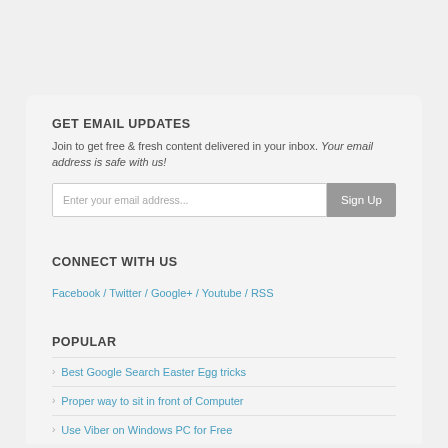GET EMAIL UPDATES
Join to get free & fresh content delivered in your inbox. Your email address is safe with us!
CONNECT WITH US
Facebook / Twitter / Google+ / Youtube / RSS
POPULAR
Best Google Search Easter Egg tricks
Proper way to sit in front of Computer
Use Viber on Windows PC for Free